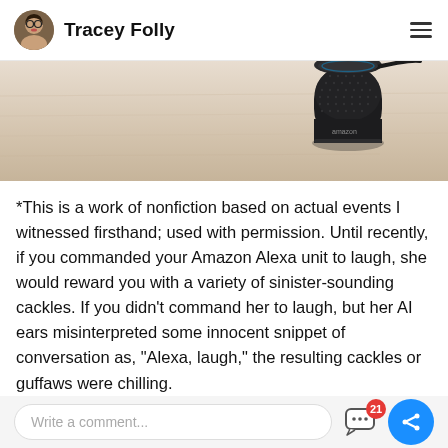Tracey Folly
[Figure (photo): Partial photo showing a wooden surface with an Amazon Echo (Alexa) smart speaker in the upper right corner against a light beige background.]
*This is a work of nonfiction based on actual events I witnessed firsthand; used with permission. Until recently, if you commanded your Amazon Alexa unit to laugh, she would reward you with a variety of sinister-sounding cackles. If you didn't command her to laugh, but her AI ears misinterpreted some innocent snippet of conversation as, "Alexa, laugh," the resulting cackles or guffaws were chilling.
Read full story >
Write a comment...